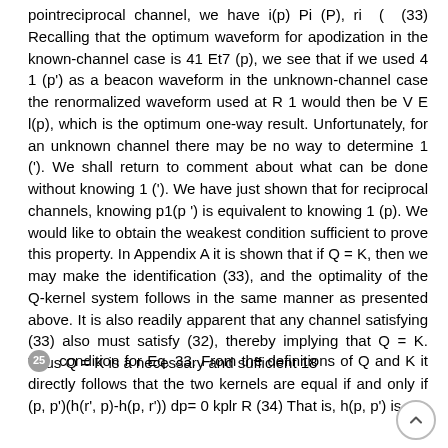pointreciprocal channel, we have i(p) Pi (P), ri ( (33) Recalling that the optimum waveform for apodization in the known-channel case is 41 Et7 (p), we see that if we used 4 1 (p') as a beacon waveform in the unknown-channel case the renormalized waveform used at R 1 would then be V E l(p), which is the optimum one-way result. Unfortunately, for an unknown channel there may be no way to determine 1 ('). We shall return to comment about what can be done without knowing 1 ('). We have just shown that for reciprocal channels, knowing p1(p ') is equivalent to knowing 1 (p). We would like to obtain the weakest condition sufficient to prove this property. In Appendix A it is shown that if Q = K, then we may make the identification (33), and the optimality of the Q-kernel system follows in the same manner as presented above. It is also readily apparent that any channel satisfying (33) also must satisfy (32), thereby implying that Q = K. Thus Q = K is a necessary and sufficient 18
25 condition for Eq. 33. From the definitions of Q and K it directly follows that the two kernels are equal if and only if (p, p')(h(r', p)-h(p, r')) dp= 0 kplr R (34) That is, h(p, p') is